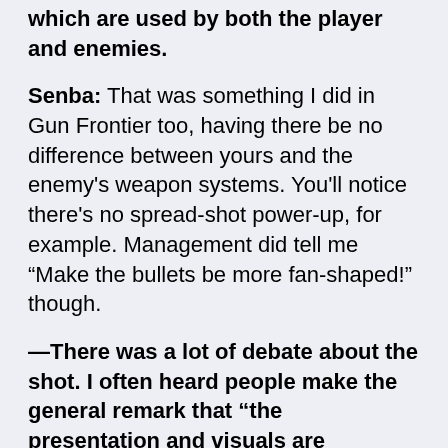which are used by both the player and enemies.
Senba: That was something I did in Gun Frontier too, having there be no difference between yours and the enemy's weapon systems. You'll notice there's no spread-shot power-up, for example. Management did tell me "Make the bullets be more fan-shaped!" though.
—There was a lot of debate about the shot. I often heard people make the general remark that "the presentation and visuals are exceptional, but as a STG game it's a bit lacking." If you looked deeper though there was a lot of